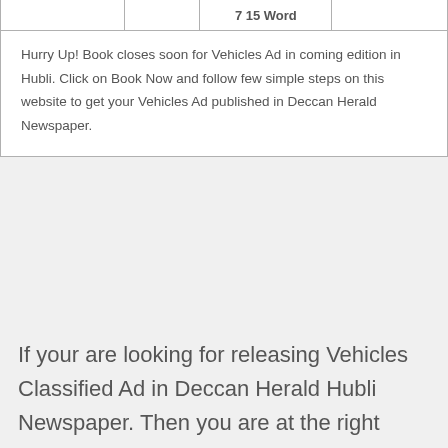|  |  | 7 15 Word |  |
| --- | --- | --- | --- |
| Hurry Up! Book closes soon for Vehicles Ad in coming edition in Hubli. Click on Book Now and follow few simple steps on this website to get your Vehicles Ad published in Deccan Herald Newspaper. |  |  |  |
If your are looking for releasing Vehicles Classified Ad in Deccan Herald Hubli Newspaper. Then you are at the right place. At Ads2publish it is easy to book Vehicles classified Ad at the lowest rates in Deccan Herald Hubli Newspaper. We are are fully advertising agency having a sound network with newspapers which enables us to publish your at the same cost using our online booking service.